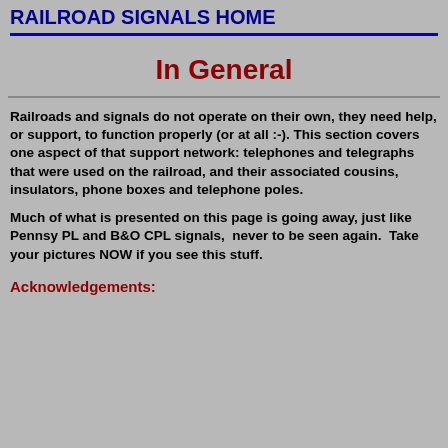RAILROAD SIGNALS HOME
In General
Railroads and signals do not operate on their own, they need help, or support, to function properly (or at all :-). This section covers one aspect of that support network: telephones and telegraphs that were used on the railroad, and their associated cousins, insulators, phone boxes and telephone poles.
Much of what is presented on this page is going away, just like Pennsy PL and B&O CPL signals,  never to be seen again.  Take your pictures NOW if you see this stuff.
Acknowledgements: